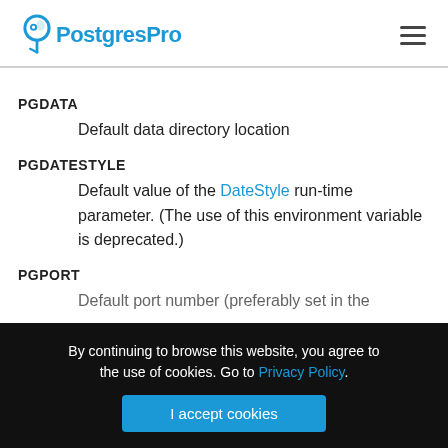PostgresPro
PGDATA
Default data directory location
PGDATESTYLE
Default value of the DateStyle run-time parameter. (The use of this environment variable is deprecated.)
PGPORT
Default port number (preferably set in the
By continuing to browse this website, you agree to the use of cookies. Go to Privacy Policy.